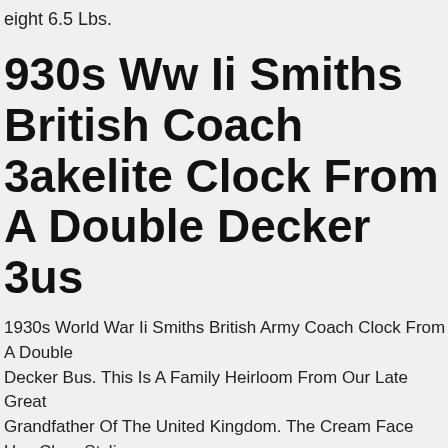eight 6.5 Lbs.
1930s Ww Ii Smiths British Coach Bakelite Clock From A Double Decker Bus
1930s World War Ii Smiths British Army Coach Clock From A Double Decker Bus. This Is A Family Heirloom From Our Late Great Grandfather Of The United Kingdom. The Cream Face Has Clear Stylish Numbers.
Clock Pendulum Electric Wall In Pin Art Deco 20th Paris 1889 France. Electric Wall Pendulum Clock With Art Deco Hands Twentieth Paris 1889 France N3828 Sm. Discreet Marks Of Manufacture And Use The Clock Works. Dimensions 48 (diam.) X 6 (thickness.) Cm. Weight 1.8 Kg. Materials Aluminum Metal. Metal Hanging System. Colors Gray Black White. Geometric Pattern Roman Numerals. Electric Clockwork Mechanism Made In China Power Supply 1 Round 1.5 V Battery. Pick-up Location The Lot Is Located In Menton In The Alpes maritimes in